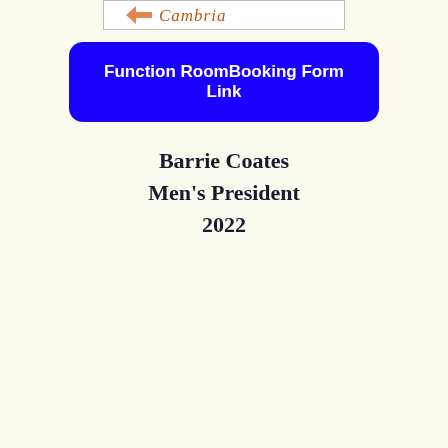[Figure (logo): Partial logo image at top center, appears to be a club or organization logo with orange/brown script text partially visible]
Function RoomBooking Form Link
Barrie Coates
Men's President
2022